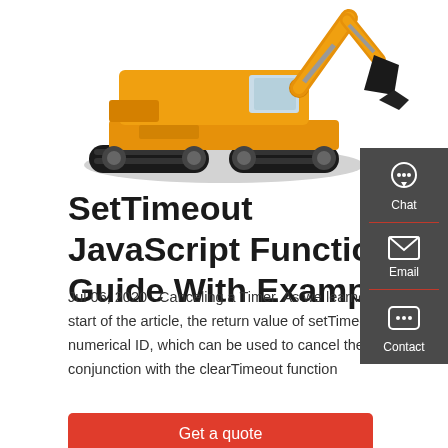[Figure (photo): Yellow construction excavator on white background]
SetTimeout JavaScript Function: Guide With Examples
Jul 06, 2020 · Canceling a Timer. As we learned at the start of the article, the return value of setTimeout is a numerical ID, which can be used to cancel the timer in conjunction with the clearTimeout function
[Figure (infographic): Side panel with Chat, Email, and Contact buttons on dark grey background]